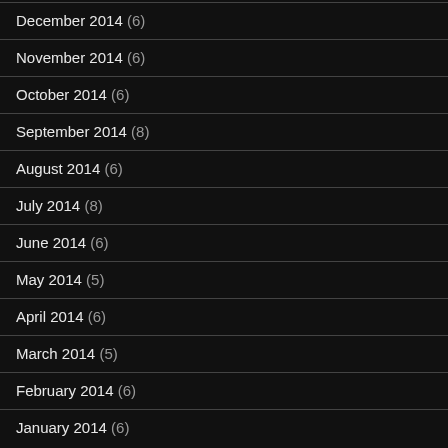December 2014 (6)
November 2014 (6)
October 2014 (6)
September 2014 (8)
August 2014 (6)
July 2014 (8)
June 2014 (6)
May 2014 (5)
April 2014 (6)
March 2014 (5)
February 2014 (6)
January 2014 (6)